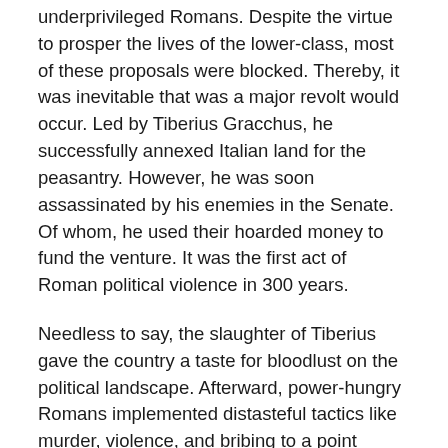underprivileged Romans. Despite the virtue to prosper the lives of the lower-class, most of these proposals were blocked. Thereby, it was inevitable that was a major revolt would occur. Led by Tiberius Gracchus, he successfully annexed Italian land for the peasantry. However, he was soon assassinated by his enemies in the Senate. Of whom, he used their hoarded money to fund the venture. It was the first act of Roman political violence in 300 years.
Needless to say, the slaughter of Tiberius gave the country a taste for bloodlust on the political landscape. Afterward, power-hungry Romans implemented distasteful tactics like murder, violence, and bribing to a point where they became the norm. Despite two civil wars tied to the collapsing democracy, Romans still thought their neglected government to be intact. Some Romans were under the